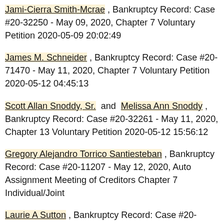Jami-Cierra Smith-Mcrae , Bankruptcy Record: Case #20-32250 - May 09, 2020, Chapter 7 Voluntary Petition 2020-05-09 20:02:49
James M. Schneider , Bankruptcy Record: Case #20-71470 - May 11, 2020, Chapter 7 Voluntary Petition 2020-05-12 04:45:13
Scott Allan Snoddy, Sr. and Melissa Ann Snoddy , Bankruptcy Record: Case #20-32261 - May 11, 2020, Chapter 13 Voluntary Petition 2020-05-12 15:56:12
Gregory Alejandro Torrico Santiesteban , Bankruptcy Record: Case #20-11207 - May 12, 2020, Auto Assignment Meeting of Creditors Chapter 7 Individual/Joint
Laurie A Sutton , Bankruptcy Record: Case #20-